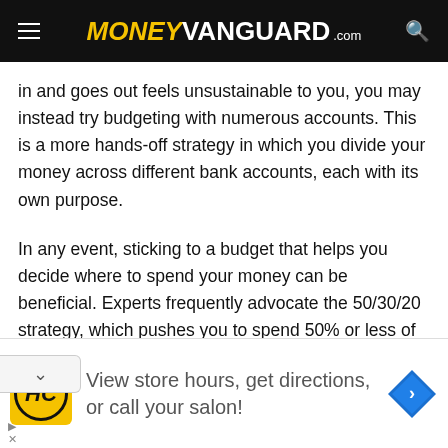MONEYVANGUARD.com
in and goes out feels unsustainable to you, you may instead try budgeting with numerous accounts. This is a more hands-off strategy in which you divide your money across different bank accounts, each with its own purpose.
In any event, sticking to a budget that helps you decide where to spend your money can be beneficial. Experts frequently advocate the 50/30/20 strategy, which pushes you to spend 50% or less of your after-tax income on necessities like housing and food, 30%
[Figure (screenshot): Advertisement banner: HC logo (yellow circle with HC text), text 'View store hours, get directions, or call your salon!', navigation arrow icon on the right.]